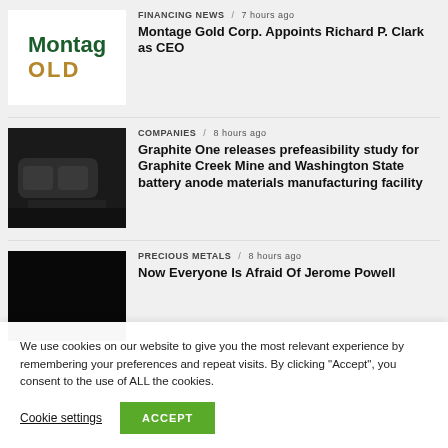[Figure (logo): Montage Gold Corp logo with green 'Montag' text and gold 'OLD' text on white background]
FINANCING NEWS / 7 hours ago
Montage Gold Corp. Appoints Richard P. Clark as CEO
[Figure (photo): Close-up dark photo of what appears to be a car exhaust or industrial machinery]
COMPANIES / 8 hours ago
Graphite One releases prefeasibility study for Graphite Creek Mine and Washington State battery anode materials manufacturing facility
[Figure (photo): Solid black image thumbnail]
PRECIOUS METALS / 8 hours ago
Now Everyone Is Afraid Of Jerome Powell
We use cookies on our website to give you the most relevant experience by remembering your preferences and repeat visits. By clicking “Accept”, you consent to the use of ALL the cookies.
Cookie settings
ACCEPT